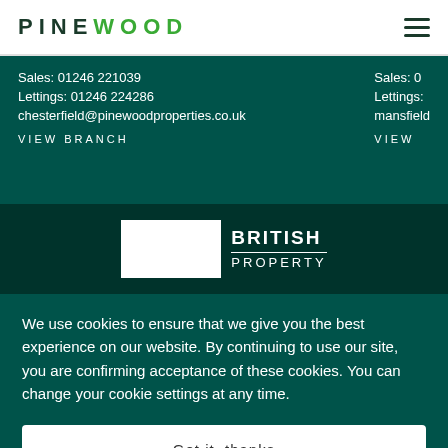PINEWOOD
Sales: 01246 221039
Lettings: 01246 224286
chesterfield@pinewoodproperties.co.uk
VIEW BRANCH
Sales: 0
Lettings:
mansfield
VIEW
[Figure (logo): British Property logo with white rectangle and BRITISH PROPERTY text]
We use cookies to ensure that we give you the best experience on our website. By continuing to use our site, you are confirming acceptance of these cookies. You can change your cookie settings at any time.
Got it, thanks